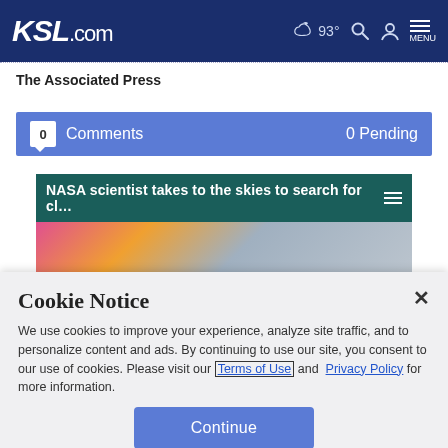KSL.com  93°  MENU
The Associated Press
0  Comments  0 Pending
[Figure (screenshot): Article preview banner: 'NASA scientist takes to the skies to search for cl...' with a teal header bar and colorful image strip below.]
Cookie Notice
We use cookies to improve your experience, analyze site traffic, and to personalize content and ads. By continuing to use our site, you consent to our use of cookies. Please visit our Terms of Use and  Privacy Policy for more information.
Continue